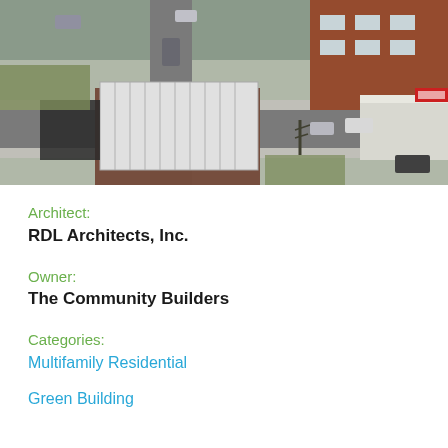[Figure (photo): Aerial drone photo of a urban intersection showing a brick building with a flat white roof in the foreground, surrounding streets with vehicles, and other commercial/residential buildings]
Architect:
RDL Architects, Inc.
Owner:
The Community Builders
Categories:
Multifamily Residential
Green Building